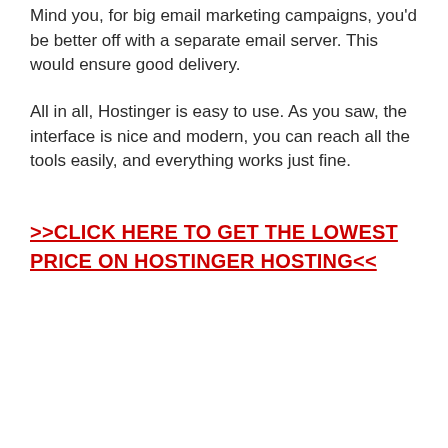Mind you, for big email marketing campaigns, you'd be better off with a separate email server. This would ensure good delivery.
All in all, Hostinger is easy to use. As you saw, the interface is nice and modern, you can reach all the tools easily, and everything works just fine.
>>CLICK HERE TO GET THE LOWEST PRICE ON HOSTINGER HOSTING<<